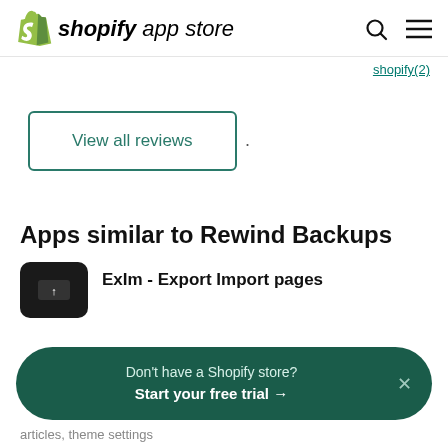shopify app store
View all reviews
Apps similar to Rewind Backups
ExIm - Export Import pages
Don't have a Shopify store?
Start your free trial →
articles, theme settings